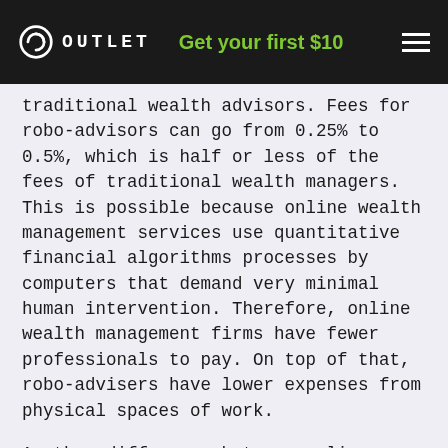OUTLET  Get your first $10
traditional wealth advisors. Fees for robo-advisors can go from 0.25% to 0.5%, which is half or less of the fees of traditional wealth managers. This is possible because online wealth management services use quantitative financial algorithms processes by computers that demand very minimal human intervention. Therefore, online wealth management firms have fewer professionals to pay. On top of that, robo-advisers have lower expenses from physical spaces of work.
Another difference between online wealth management services and traditional ones is the minimum asset requirement. More often than not, robo-advisors minimum asset